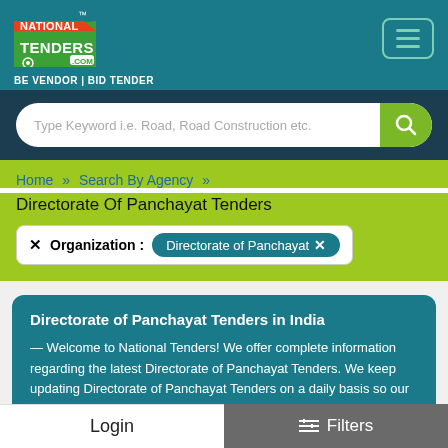[Figure (logo): National Tenders .com logo with TM mark on teal header background, hamburger menu button top right]
Type Keyword i.e. Road, Road Construction etc.
Home » Search By Agency »
Directorate Of Panchayat Tenders
✕ Organization : Directorate of Panchayat ✕
Directorate of Panchayat Tenders in India
— Welcome to National Tenders! We offer complete information regarding the latest Directorate of Panchayat Tenders. We keep updating Directorate of Panchayat Tenders on a daily basis so our users can get the latest details on the
Login    ☰ Filters